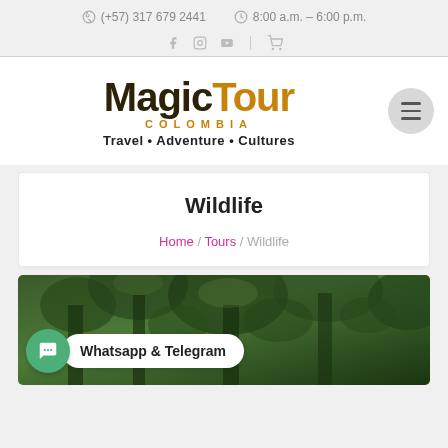(+57) 317 679 2441   8:00 a.m. – 6:00 p.m.
[Figure (logo): MagicTour Colombia logo with tagline Travel • Adventure • Cultures]
Wildlife
Home / Tours / Wildlife
[Figure (photo): Jungle/rainforest photo with Whatsapp & Telegram chat bubble overlay]